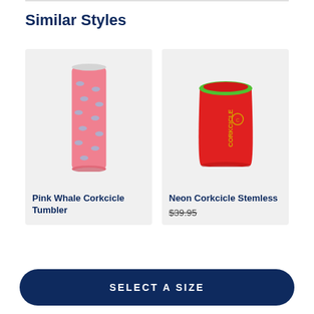Similar Styles
[Figure (photo): Pink Whale Corkcicle Tumbler — a tall pink tumbler with small blue whale pattern all over it]
[Figure (photo): Neon Corkcicle Stemless — a red stemless wine cup with green rim and yellow Corkcicle branding on the side]
Pink Whale Corkcicle Tumbler
Neon Corkcicle Stemless
$39.95
SELECT A SIZE